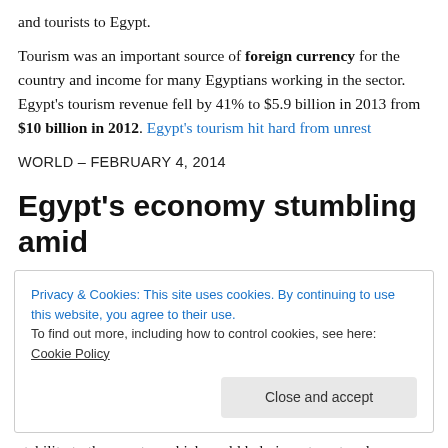and tourists to Egypt.
Tourism was an important source of foreign currency for the country and income for many Egyptians working in the sector. Egypt's tourism revenue fell by 41% to $5.9 billion in 2013 from $10 billion in 2012. Egypt's tourism hit hard from unrest
WORLD – FEBRUARY 4, 2014
Egypt's economy stumbling amid
Privacy & Cookies: This site uses cookies. By continuing to use this website, you agree to their use.
To find out more, including how to control cookies, see here: Cookie Policy
Close and accept
stability to the country, which could help investment and